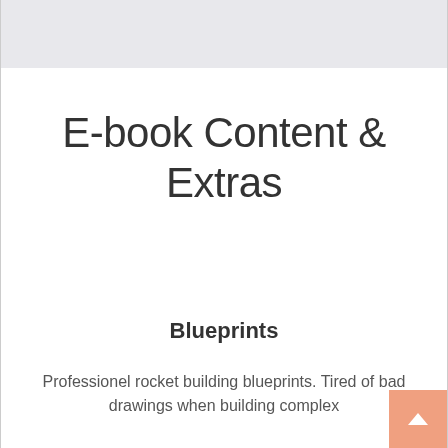E-book Content & Extras
Blueprints
Professionel rocket building blueprints. Tired of bad drawings when building complex